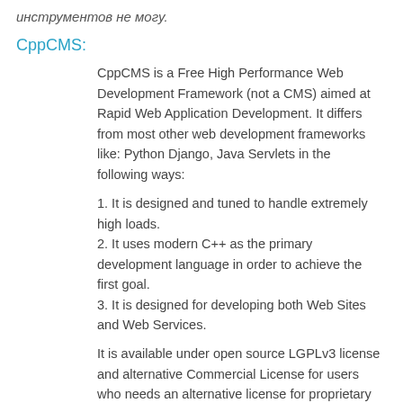инструментов не могу.
CppCMS:
CppCMS is a Free High Performance Web Development Framework (not a CMS) aimed at Rapid Web Application Development. It differs from most other web development frameworks like: Python Django, Java Servlets in the following ways:
1. It is designed and tuned to handle extremely high loads.
2. It uses modern C++ as the primary development language in order to achieve the first goal.
3. It is designed for developing both Web Sites and Web Services.
It is available under open source LGPLv3 license and alternative Commercial License for users who needs an alternative license for proprietary software development.
Pion:
C++ framework for building lightweight HTTP interfaces